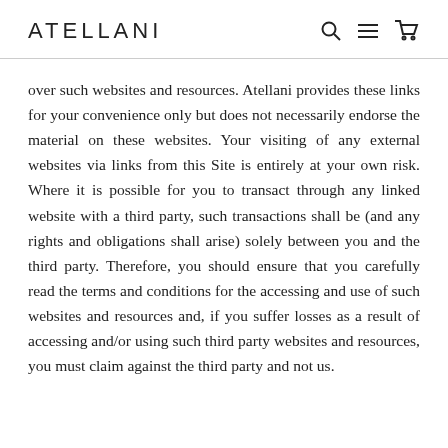ATELLANI
over such websites and resources. Atellani provides these links for your convenience only but does not necessarily endorse the material on these websites. Your visiting of any external websites via links from this Site is entirely at your own risk. Where it is possible for you to transact through any linked website with a third party, such transactions shall be (and any rights and obligations shall arise) solely between you and the third party. Therefore, you should ensure that you carefully read the terms and conditions for the accessing and use of such websites and resources and, if you suffer losses as a result of accessing and/or using such third party websites and resources, you must claim against the third party and not us.